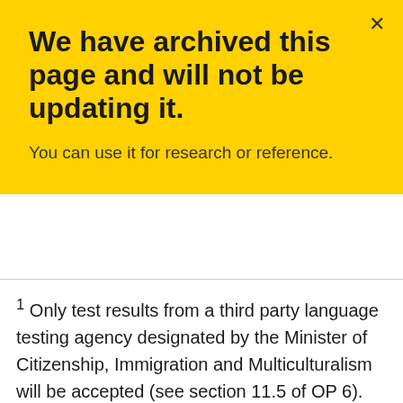We have archived this page and will not be updating it.
You can use it for research or reference.
1 Only test results from a third party language testing agency designated by the Minister of Citizenship, Immigration and Multiculturalism will be accepted (see section 11.5 of OP 6).